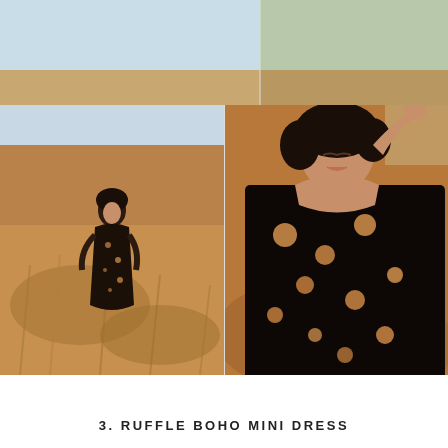[Figure (photo): Header bar with hamburger menu icon on a light gray background]
[Figure (photo): Woman in black floral boho dress standing in dry desert field with golden grass — left photo]
[Figure (photo): Close-up of woman in black floral boho dress with hand raised, in desert setting — right photo]
3. RUFFLE BOHO MINI DRESS